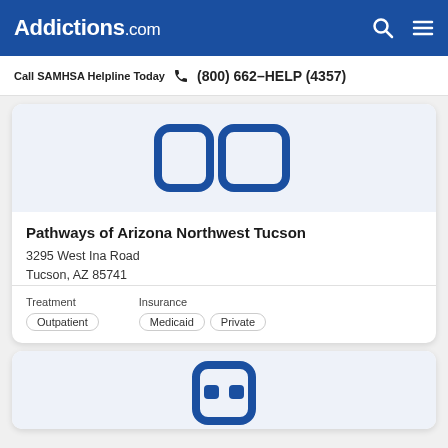Addictions.com
Call SAMHSA Helpline Today  (800) 662-HELP (4357)
[Figure (logo): Partial facility logo icon in blue on light blue background — two rounded rectangle shapes]
Pathways of Arizona Northwest Tucson
3295 West Ina Road
Tucson, AZ 85741
Treatment: Outpatient | Insurance: Medicaid, Private
[Figure (logo): Partial second facility logo icon in blue on light blue background — cropped at bottom of page]